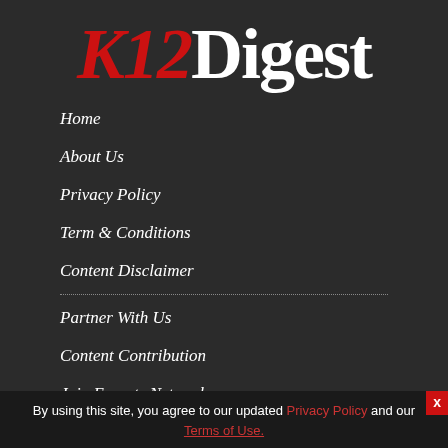K12Digest
Home
About Us
Privacy Policy
Term & Conditions
Content Disclaimer
Partner With Us
Content Contribution
Join Experts Network
By using this site, you agree to our updated Privacy Policy and our Terms of Use.